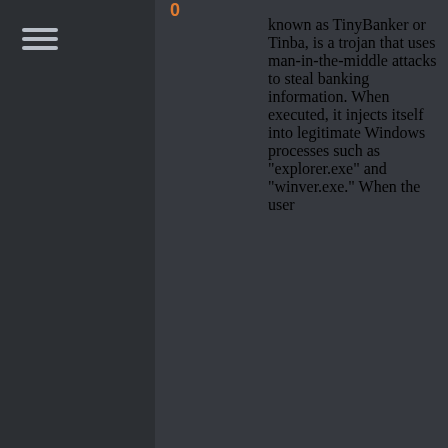0
known as TinyBanker or Tinba, is a trojan that uses man-in-the-middle attacks to steal banking information. When executed, it injects itself into legitimate Windows processes such as 'explorer.exe' and 'winver.exe.' When the user